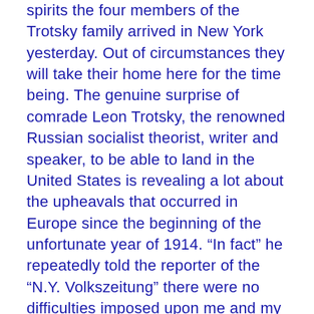spirits the four members of the Trotsky family arrived in New York yesterday. Out of circumstances they will take their home here for the time being. The genuine surprise of comrade Leon Trotsky, the renowned Russian socialist theorist, writer and speaker, to be able to land in the United States is revealing a lot about the upheavals that occurred in Europe since the beginning of the unfortunate year of 1914. “In fact” he repeatedly told the reporter of the “N.Y. Volkszeitung” there were no difficulties imposed upon me and my family whatsoever. Your immigration officers were as friendly and polite as if they wanted you to feel at home here right away, very different to Old Europe.”
And then he pointed out that all of Europe, no